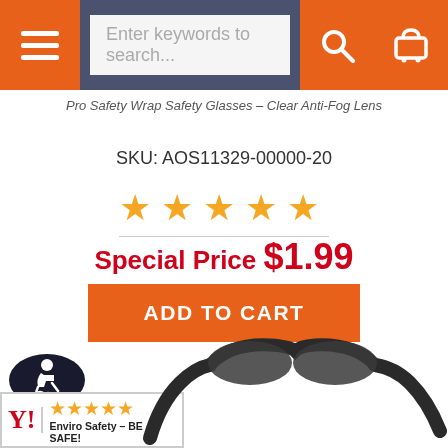Navigation bar with menu, search, and cart buttons
Pro Safety Wrap Safety Glasses – Clear Anti-Fog Lens
SKU: AOS11329-00000-20
[Figure (other): 5-star rating with 4.5 filled stars in orange]
Special Price $1.99
ADD TO CART
[Figure (other): Accessibility wheelchair icon — black oval badge]
[Figure (other): Enviro Safety – BE SAFE! badge with 4.5 orange stars and Y! logo]
[Figure (photo): Dark/black safety glasses product photo, angled view showing frame and legs]